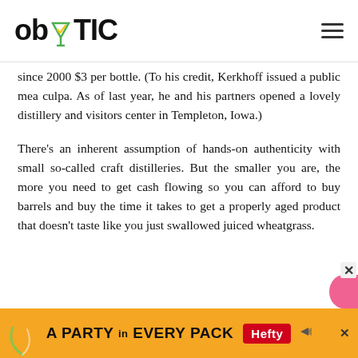ob TIC
since 2000 $3 per bottle. (To his credit, Kerkhoff issued a public mea culpa. As of last year, he and his partners opened a lovely distillery and visitors center in Templeton, Iowa.)
There's an inherent assumption of hands-on authenticity with small so-called craft distilleries. But the smaller you are, the more you need to get cash flowing so you can afford to buy barrels and buy the time it takes to get a properly aged product that doesn't taste like you just swallowed juiced wheatgrass.
[Figure (other): Advertisement banner: A PARTY in EVERY PACK with Hefty logo and decorative arc on orange background]